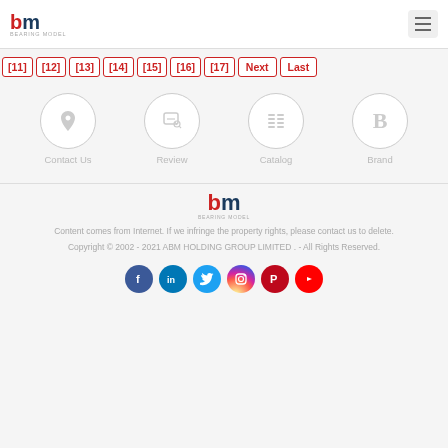BM Bearing Model logo and hamburger menu
[11] [12] [13] [14] [15] [16] [17] Next Last
[Figure (infographic): Four icon circles for Contact Us, Review, Catalog, and Brand]
[Figure (logo): BM Bearing Model logo centered in footer]
Content comes from Internet. If we infringe the property rights, please contact us to delete.
Copyright © 2002 - 2021 ABM HOLDING GROUP LIMITED . - All Rights Reserved.
[Figure (infographic): Social media icons: Facebook, LinkedIn, Twitter, Instagram, Pinterest, YouTube]